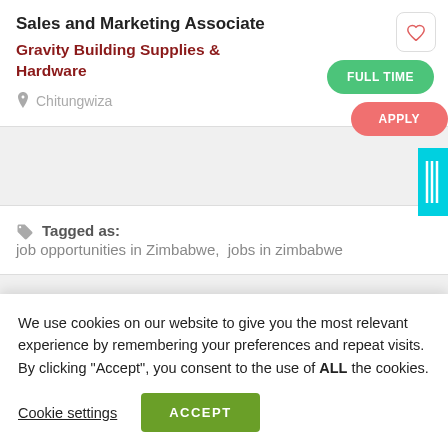Sales and Marketing Associate
Gravity Building Supplies & Hardware
Chitungwiza
FULL TIME
APPLY
Tagged as:  job opportunities in Zimbabwe,  jobs in zimbabwe
We use cookies on our website to give you the most relevant experience by remembering your preferences and repeat visits. By clicking “Accept”, you consent to the use of ALL the cookies.
Cookie settings
ACCEPT